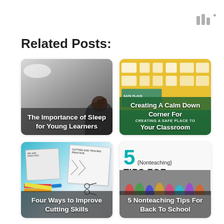Related Posts:
[Figure (photo): Child sleeping with stuffed animal - The Importance of Sleep for Young Learners]
[Figure (photo): Classroom calm down corner with yellow wall and green safe place sign - Creating A Calm Down Corner For Your Classroom]
[Figure (photo): Cutting and tracing practice worksheets with crayons - Four Ways to Improve Cutting Skills]
[Figure (photo): 5 Nonteaching Tips For Back To School colorful design with painted hands - 5 Nonteaching Tips For Back To School]